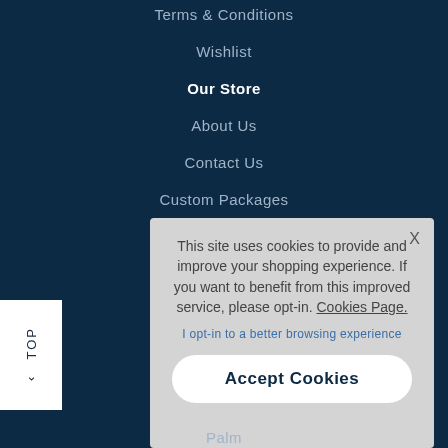Terms & Conditions
Wishlist
Our Store
About Us
Contact Us
Custom Packages
This site uses cookies to provide and improve your shopping experience. If you want to benefit from this improved service, please opt-in. Cookies Page. I opt-in to a better browsing experience
Accept Cookies
Palm